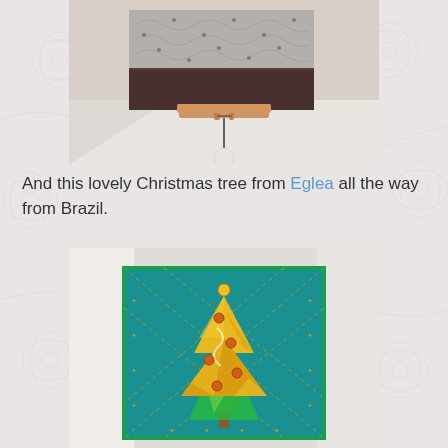[Figure (photo): Photo of a small framed artwork or textile piece on a wooden easel stand, sitting on a white surface. The piece shows dark fabric with lace overlay.]
And this lovely Christmas tree from Eglea all the way from Brazil.
[Figure (photo): Photo of a fabric Christmas card or textile art piece showing a yellow/gold Christmas tree on a teal/turquoise green felt background with diagonal stitched lines and small decorative snowflake-like stitches.]